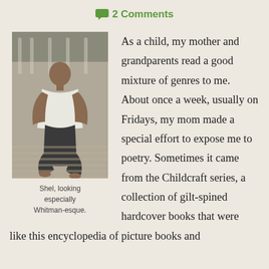2 Comments
[Figure (photo): Black and white photo of a bald man sitting on wooden deck boards, wearing a white open shirt and dark pants, barefoot, with a fence and foliage in the background.]
Shel, looking especially Whitman-esque.
As a child, my mother and grandparents read a good mixture of genres to me. About once a week, usually on Fridays, my mom made a special effort to expose me to poetry. Sometimes it came from the Childcraft series, a collection of gilt-spined hardcover books that were like this encyclopedia of picture books and...